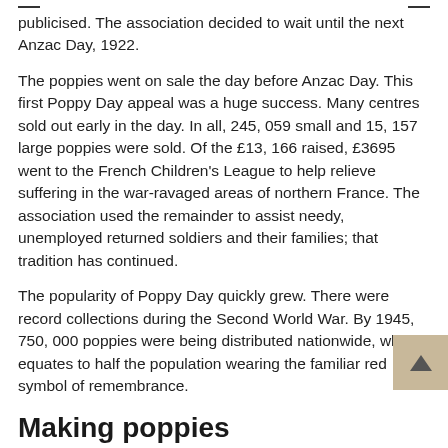publicised. The association decided to wait until the next Anzac Day, 1922.
The poppies went on sale the day before Anzac Day. This first Poppy Day appeal was a huge success. Many centres sold out early in the day. In all, 245, 059 small and 15, 157 large poppies were sold. Of the £13, 166 raised, £3695 went to the French Children's League to help relieve suffering in the war-ravaged areas of northern France. The association used the remainder to assist needy, unemployed returned soldiers and their families; that tradition has continued.
The popularity of Poppy Day quickly grew. There were record collections during the Second World War. By 1945, 750, 000 poppies were being distributed nationwide, which equates to half the population wearing the familiar red symbol of remembrance.
Making poppies
New Zealand's supply of red poppies has been sourced